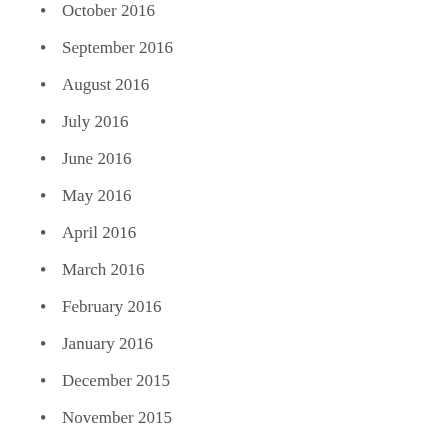October 2016
September 2016
August 2016
July 2016
June 2016
May 2016
April 2016
March 2016
February 2016
January 2016
December 2015
November 2015
October 2015
September 2015
August 2015
July 2015
June 2015
May 2015
April 2015